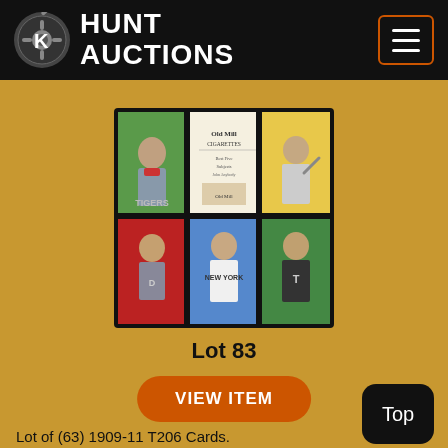HUNT AUCTIONS
[Figure (photo): Grid of six vintage baseball cards from the 1909-11 T206 set, showing player portraits with various colored backgrounds (green, white/text, yellow/orange, red, blue, green), displayed in a 3x2 arrangement with a dark border.]
Lot 83
VIEW ITEM
Lot of (63) 1909-11 T206 Cards.
Est. Price Range
($750-$1,000)
Sold For Price